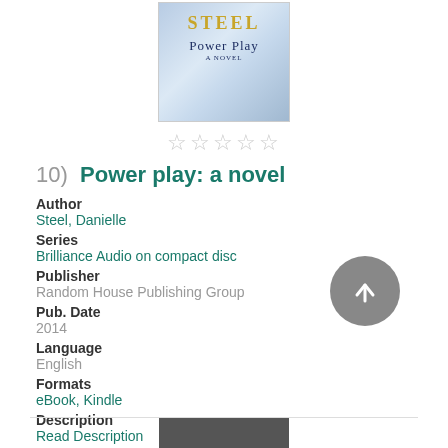[Figure (illustration): Book cover of 'Power Play: a novel' by Danielle Steel, showing title text on a light blue textured background]
[Figure (other): Five empty star rating icons]
10)  Power play: a novel
Author
Steel, Danielle
Series
Brilliance Audio on compact disc
Publisher
Random House Publishing Group
Pub. Date
2014
Language
English
Formats
eBook, Kindle
Description
Read Description
[Figure (other): More Info and Add to list buttons, social share icons (email, Twitter, Facebook, Pinterest), and a back-to-top arrow button]